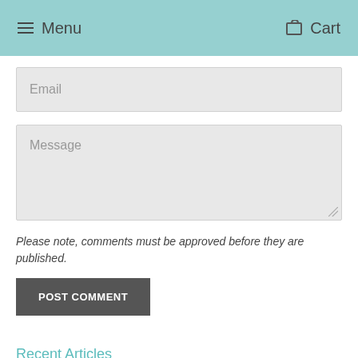Menu   Cart
Email
Message
Please note, comments must be approved before they are published.
POST COMMENT
Recent Articles
Transformation, adaptability, lightness and joy...